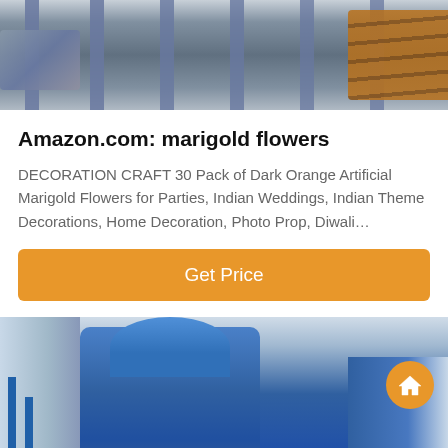[Figure (photo): Industrial equipment photo showing machinery with metal pillars and orange/blue structures in a warehouse setting]
Amazon.com: marigold flowers
DECORATION CRAFT 30 Pack of Dark Orange Artificial Marigold Flowers for Parties, Indian Weddings, Indian Theme Decorations, Home Decoration, Photo Prop, Diwali…
Get Price
[Figure (photo): Industrial blue machinery/equipment in a factory or warehouse setting]
Leave Message
Chat Online